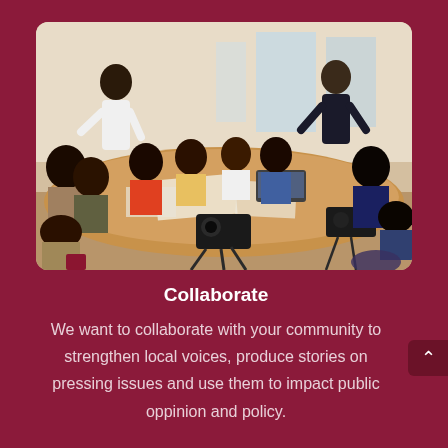[Figure (photo): A group of journalists and media professionals seated around a large table in a workshop or meeting, with cameras and laptops on the table. Two people are standing and presenting. The room appears to be a media training or collaboration session.]
Collaborate
We want to collaborate with your community to strengthen local voices, produce stories on pressing issues and use them to impact public oppinion and policy.